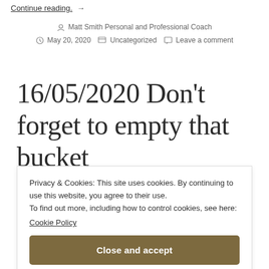Continue reading. →
Matt Smith Personal and Professional Coach
May 20, 2020   Uncategorized   Leave a comment
16/05/2020 Don't forget to empty that bucket
Privacy & Cookies: This site uses cookies. By continuing to use this website, you agree to their use.
To find out more, including how to control cookies, see here:
Cookie Policy
Close and accept